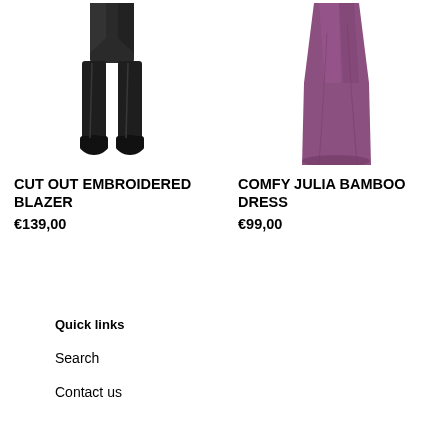[Figure (photo): Person wearing a dark cut out embroidered blazer with black trousers and boots, lower body/legs visible]
[Figure (photo): Purple/mauve long bamboo dress shown on a model, lower portion of garment visible]
CUT OUT EMBROIDERED BLAZER
€139,00
COMFY JULIA BAMBOO DRESS
€99,00
Quick links
Search
Contact us